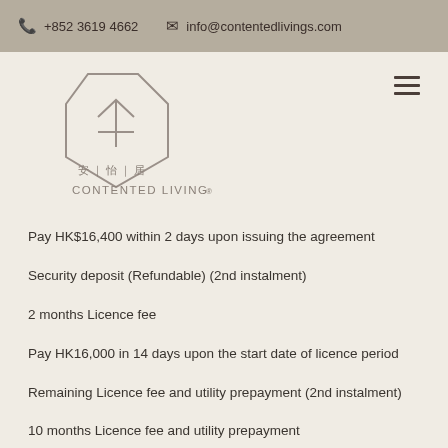+852 3619 4662   info@contentedlivings.com
[Figure (logo): Contented Living logo with geometric house shape and Chinese characters 安|怡|居 and text CONTENTED LIVING®]
Pay HK$16,400 within 2 days upon issuing the agreement
Security deposit (Refundable) (2nd instalment)
2 months Licence fee
Pay HK16,000 in 14 days upon the start date of licence period
Remaining Licence fee and utility prepayment (2nd instalment)
10 months Licence fee and utility prepayment
Pay HK$82,000 in 14 days upon the start date of licence period